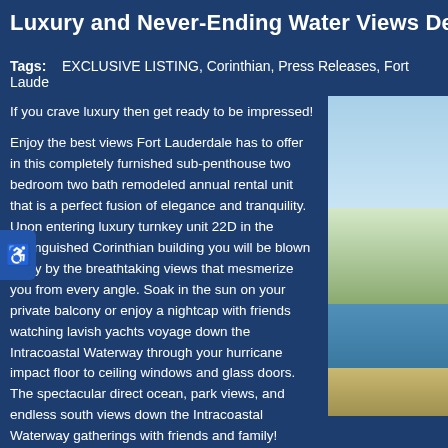Luxury and Never-Ending Water Views Define this Re...
Tags:   EXCLUSIVE LISTING, Corinthian, Press Releases, Fort Laude...
If you crave luxury then get ready to be impressed!
[Figure (photo): Aerial photo of Fort Lauderdale waterfront area showing buildings, water, and surrounding landscape]
Enjoy the best views Fort Lauderdale has to offer in this completely furnished sub-penthouse two bedroom two bath remodeled annual rental unit that is a perfect fusion of elegance and tranquility. Upon entering luxury turnkey unit 22D in the distinguished Corinthian building you will be blown away by the breathtaking views that mesmerize you from every angle. Soak in the sun on your private balcony or enjoy a nightcap with friends watching lavish yachts voyage down the Intracoastal Waterway through your hurricane impact floor to ceiling windows and glass doors. The spectacular direct ocean, park views, and endless south views down the Intracoastal Waterway gatherings with friends and family!
Prepare five star meals for your lucky guests in a renovated open gou... counters with full classic glass tile backsplash, and top-of-the-line sta...